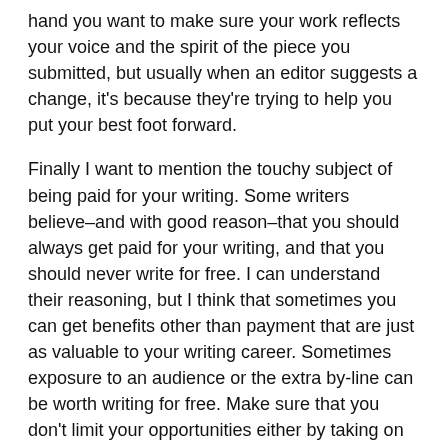hand you want to make sure your work reflects your voice and the spirit of the piece you submitted, but usually when an editor suggests a change, it's because they're trying to help you put your best foot forward.
Finally I want to mention the touchy subject of being paid for your writing. Some writers believe–and with good reason–that you should always get paid for your writing, and that you should never write for free. I can understand their reasoning, but I think that sometimes you can get benefits other than payment that are just as valuable to your writing career. Sometimes exposure to an audience or the extra by-line can be worth writing for free. Make sure that you don't limit your opportunities either by taking on too much free work for not enough comparable value, or by refusing to write without getting paid.
One caveat: Remember that money should always flow to the author, not away from the author. Never accept a job